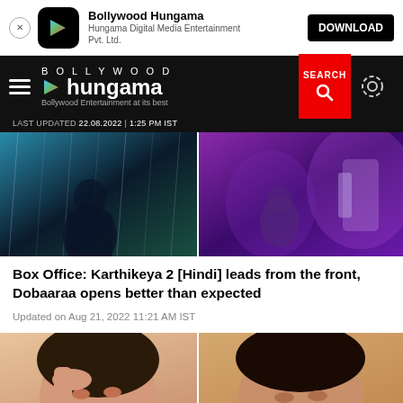[Figure (screenshot): App download banner for Bollywood Hungama app with icon, name, subtitle and download button]
[Figure (screenshot): Bollywood Hungama website navigation bar with hamburger menu, logo, search button and settings icon]
LAST UPDATED 22.08.2022 | 1:25 PM IST
[Figure (photo): Split hero image showing two movie scenes - left side shows a person in rain with teal background (Karthikeya 2), right side shows a person in purple neon lighting (Dobaaraa)]
Box Office: Karthikeya 2 [Hindi] leads from the front, Dobaaraa opens better than expected
Updated on Aug 21, 2022 11:21 AM IST
[Figure (photo): Split bottom image showing two women against peach/tan backgrounds - left woman holding something near her forehead, right woman with gold earrings]